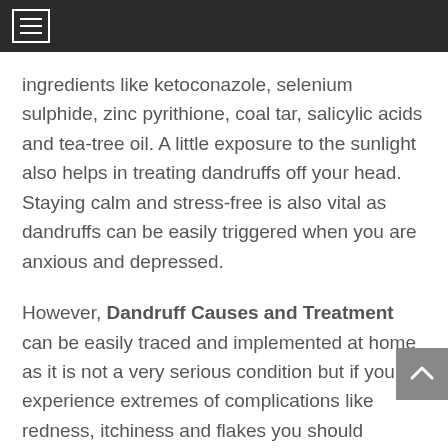≡
ingredients like ketoconazole, selenium sulphide, zinc pyrithione, coal tar, salicylic acids and tea-tree oil. A little exposure to the sunlight also helps in treating dandruffs off your head. Staying calm and stress-free is also vital as dandruffs can be easily triggered when you are anxious and depressed.
However, Dandruff Causes and Treatment can be easily traced and implemented at home as it is not a very serious condition but if you experience extremes of complications like redness, itchiness and flakes you should immediately consult a doctor, especially a dermatologist who will suggest the best precautions for your condition.